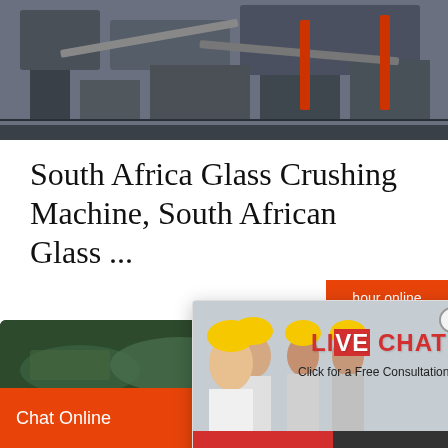[Figure (photo): Industrial glass crushing/mining machinery equipment, grey metal structures]
South Africa Glass Crushing Machine, South African Glass ...
Made in So... Offering W... from South...
[Figure (screenshot): Live chat popup overlay with workers in hard hats, LIVE CHAT text in red, 'Click for a Free Consultation', Chat now and Chat later buttons]
[Figure (photo): Customer service agent with headset on right sidebar, hour online bar, Click to chat button, Enquiry section]
[Figure (photo): Bottom strip showing green industrial/glass processing image]
Chat Online   cywaitml @gmail.com